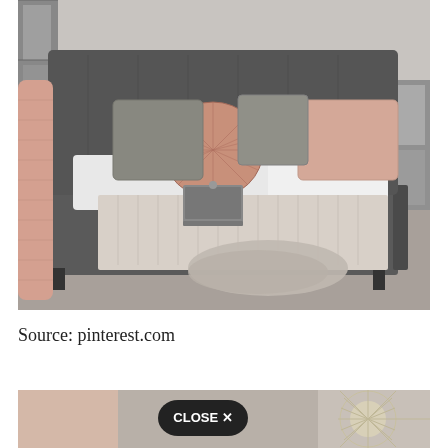[Figure (photo): A styled bedroom scene showing a grey upholstered bed with various decorative pillows including a round pink pleated pillow, grey textured pillows, and a pink pillow. A grey and white quilted bedspread is draped across the bed. A laptop is placed on the bed. A pink knit throw hangs on the left side. Mirrored furniture visible in background. Grey carpet floor.]
Source: pinterest.com
[Figure (photo): Partial view of a second image showing a decorative sunburst mirror and a 'CLOSE X' button overlay, suggesting a web advertisement or popup. Pink and silver tones visible.]